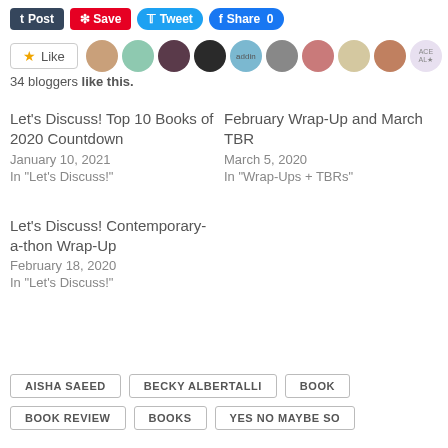[Figure (screenshot): Social sharing buttons: Post (Tumblr), Save (Pinterest), Tweet (Twitter), Share 0 (Facebook)]
[Figure (screenshot): Like button with star icon and 10 blogger avatar thumbnails]
34 bloggers like this.
Let's Discuss! Top 10 Books of 2020 Countdown
January 10, 2021
In "Let's Discuss!"
February Wrap-Up and March TBR
March 5, 2020
In "Wrap-Ups + TBRs"
Let's Discuss! Contemporary-a-thon Wrap-Up
February 18, 2020
In "Let's Discuss!"
AISHA SAEED
BECKY ALBERTALLI
BOOK
BOOK REVIEW
BOOKS
YES NO MAYBE SO